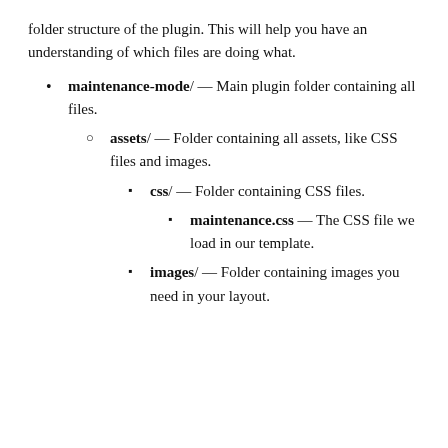folder structure of the plugin. This will help you have an understanding of which files are doing what.
maintenance-mode/ — Main plugin folder containing all files.
assets/ — Folder containing all assets, like CSS files and images.
css/ — Folder containing CSS files.
maintenance.css — The CSS file we load in our template.
images/ — Folder containing images you need in your layout.